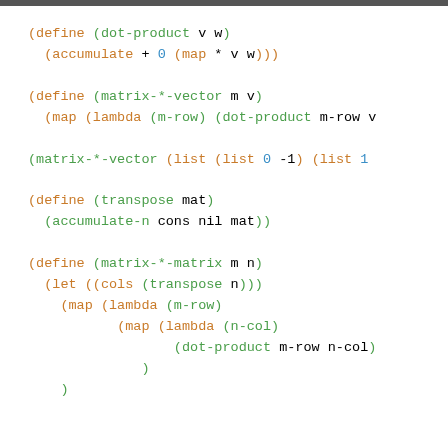EXERCISE LIST
(define (dot-product v w)
  (accumulate + 0 (map * v w)))

(define (matrix-*-vector m v)
  (map (lambda (m-row) (dot-product m-row v

(matrix-*-vector (list (list 0 -1) (list 1

(define (transpose mat)
  (accumulate-n cons nil mat))

(define (matrix-*-matrix m n)
  (let ((cols (transpose n)))
    (map (lambda (m-row)
           (map (lambda (n-col)
                  (dot-product m-row n-col)
              )
    )
  )